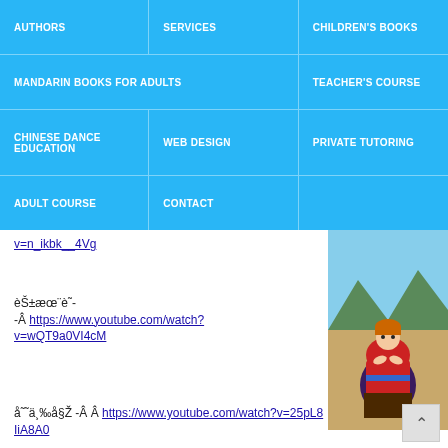AUTHORS | SERVICES | CHILDREN'S BOOKS | MANDARIN BOOKS FOR ADULTS | TEACHER'S COURSE | CHINESE DANCE EDUCATION | WEB DESIGN | PRIVATE TUTORING | ADULT COURSE | CONTACT
v=n_ikbk__4Vg
èŠ±æœ¨è˜- -Â https://www.youtube.com/watch?v=wQT9a0VI4cM
[Figure (illustration): Illustration of a woman in traditional Chinese red costume kneeling/dancing]
å˜˜ä¸‰å§Ž -Â Â https://www.youtube.com/watch?v=25pL8IiA8A0